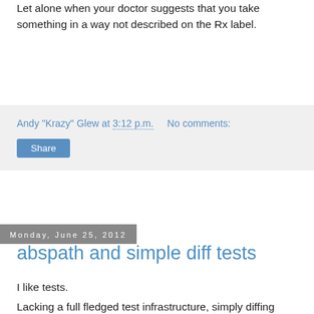Let alone when your doctor suggests that you take something in a way not described on the Rx label.
Andy "Krazy" Glew at 3:12 p.m.   No comments:
Share
Monday, June 25, 2012
abspath and simple diff tests
I like tests.
Lacking a full fledged test infrastructure, simply diffing outputfiles is often sufficient.
Except for stuff like
a) using absolute paths related to where the source tree is
b) other time and position variant stuff.